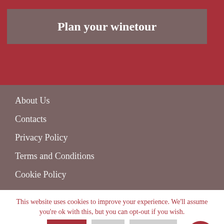Plan your winetour
About Us
Contacts
Privacy Policy
Terms and Conditions
Cookie Policy
This website uses cookies to improve your experience. We'll assume you're ok with this, but you can opt-out if you wish.
Accept | Reject | Read More